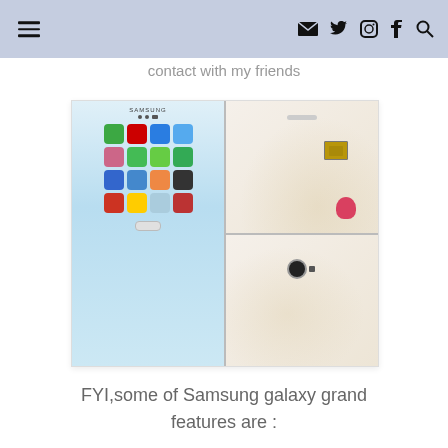≡  ✉ Twitter Instagram Tumblr Search
contact with my friends
[Figure (photo): Collage of three photos showing a Samsung Galaxy Grand smartphone: top-left shows the back of the phone with a SIM card and a finger with red nail polish, bottom-left shows the back bottom of the phone with the camera, and right side shows the front of the phone with the home screen displaying various apps.]
FYI,some of Samsung galaxy grand features are :